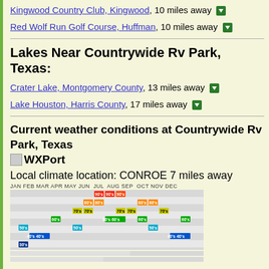Kingwood Country Club, Kingwood, 10 miles away
Red Wolf Run Golf Course, Huffman, 10 miles away
Lakes Near Countrywide Rv Park, Texas:
Crater Lake, Montgomery County, 13 miles away
Lake Houston, Harris County, 17 miles away
Current weather conditions at Countrywide Rv Park, Texas WXPort
Local climate location: CONROE 7 miles away
[Figure (infographic): Monthly climate temperature chart showing temperature ranges by month (JAN through DEC) with colored bands indicating 30s, 40s, 50s, 60s, 70s, 80s, 90s temperature ranges]